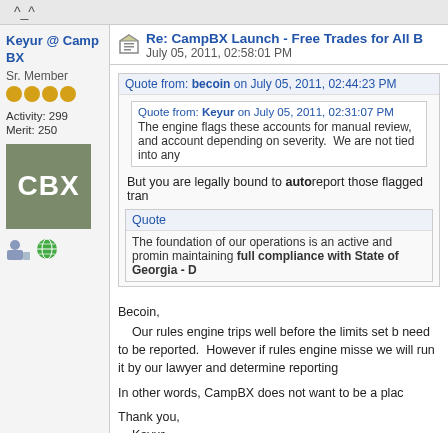^_^
Keyur @ Camp BX
Sr. Member
Activity: 299
Merit: 250
Re: CampBX Launch - Free Trades for All B
July 05, 2011, 02:58:01 PM
Quote from: becoin on July 05, 2011, 02:44:23 PM
Quote from: Keyur on July 05, 2011, 02:31:07 PM
The engine flags these accounts for manual review, and account depending on severity. We are not tied into any
But you are legally bound to autoreport those flagged tran
Quote
The foundation of our operations is an active and promin maintaining full compliance with State of Georgia - D
Becoin,
    Our rules engine trips well before the limits set b need to be reported. However if rules engine misse we will run it by our lawyer and determine reporting

In other words, CampBX does not want to be a plac

Thank you,
    Keyur